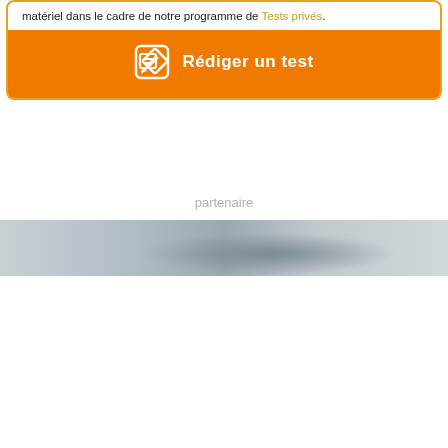matériel dans le cadre de notre programme de Tests privés.
Rédiger un test
partenaire
[Figure (photo): Partial photo strip showing a blurred outdoor/winter landscape scene, visible as a narrow horizontal band across the page.]